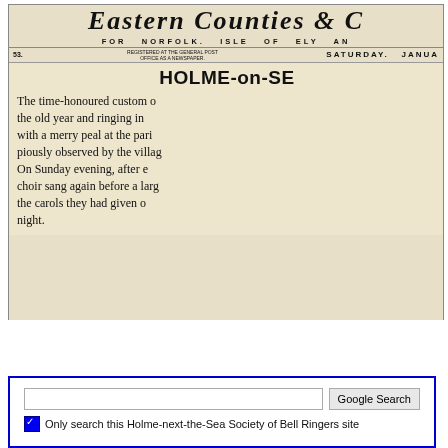[Figure (photo): Scanned newspaper clipping showing masthead of a Norfolk newspaper (No. 53, Saturday, January...) with article headline 'HOLME-on-SE...' and partial article text about time-honoured custom of ringing out the old year, merry peal at the parish church, Sunday evening choir performance of carols.]
Only search this Holme-next-the-Sea Society of Bell Ringers site